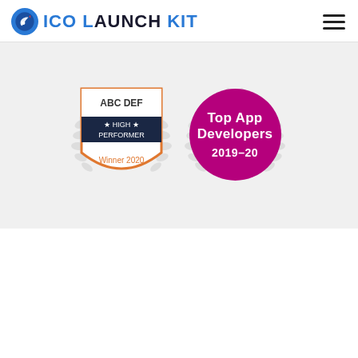[Figure (logo): ICO Launch Kit logo with rocket icon and stylized text]
[Figure (infographic): Two award badges: 'ABC DEF High Performer Winner 2020' shield badge and 'Top App Developers 2019-20' circle badge, both with laurel wreath decorations on gray background]
Copyright © 2020-21 ICO Launchkit. All rights reserved.